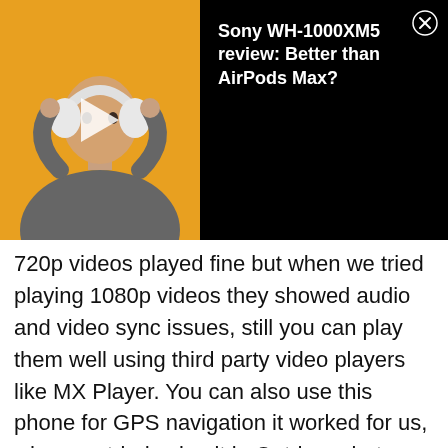[Figure (screenshot): Video ad banner: left half shows a person wearing white over-ear headphones against an orange background with a play button overlay. Right half is black with white text 'Sony WH-1000XM5 review: Better than AirPods Max?' and a close (X) button in top-right corner.]
720p videos played fine but when we tried playing 1080p videos they showed audio and video sync issues, still you can play them well using third party video players like MX Player. You can also use this phone for GPS navigation it worked for us, when we tried using it in Outdoors but when we were indoors it was not able to lock GPS coordinates because of low signal strength.